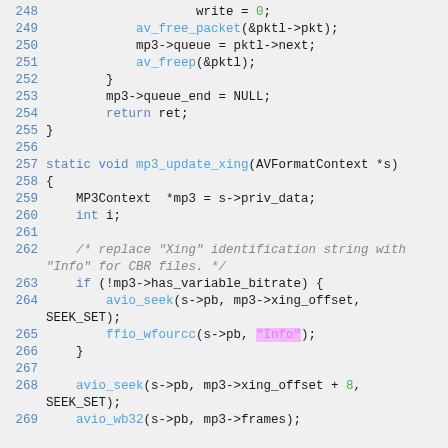[Figure (screenshot): Source code listing in C showing lines 248-269 of an MP3 muxer implementation, with syntax highlighting. Functions shown include mp3_update_xing, avio_seek, ffio_wfourcc. Highlighted string literal 'Info' in pink.]